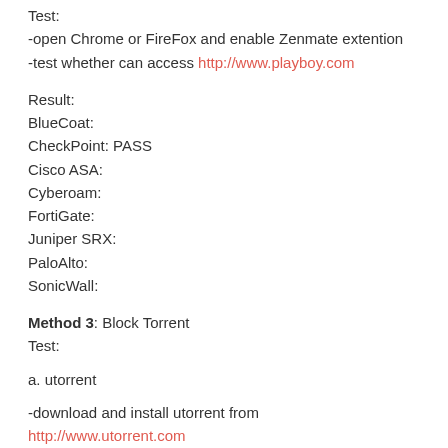Test:
-open Chrome or FireFox and enable Zenmate extention
-test whether can access http://www.playboy.com
Result:
BlueCoat:
CheckPoint: PASS
Cisco ASA:
Cyberoam:
FortiGate:
Juniper SRX:
PaloAlto:
SonicWall:
Method 3: Block Torrent
Test:
a. utorrent
-download and install utorrent from http://www.utorrent.com
-download and open torrent magnet from kickass.to
-test whether torrent can download